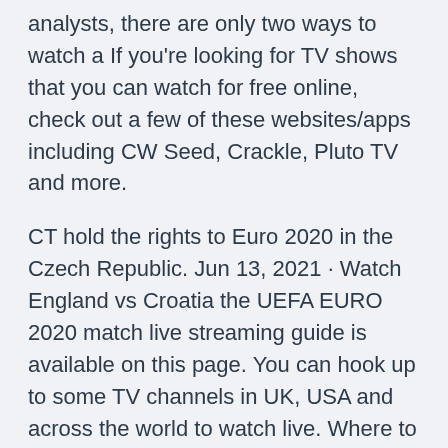analysts, there are only two ways to watch a If you're looking for TV shows that you can watch for free online, check out a few of these websites/apps including CW Seed, Crackle, Pluto TV and more.
CT hold the rights to Euro 2020 in the Czech Republic. Jun 13, 2021 · Watch England vs Croatia the UEFA EURO 2020 match live streaming guide is available on this page. You can hook up to some TV channels in UK, USA and across the world to watch live. Where to watch England vs Croatia We will show you the link to watch the match live in the comfort of your home. You will be able to listen to live updates on LBC News or watch the fixture on terrestrial TV. Scotland and England drew in their last meeting in a FIFA World Cup qualifier.